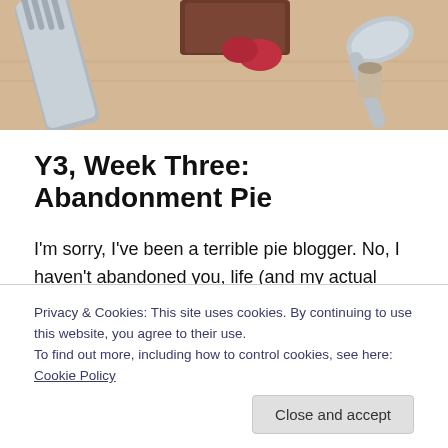[Figure (photo): Close-up photo of a fork and food on a wooden surface, warm tones, partially cropped at top of page]
Y3, Week Three: Abandonment Pie
I'm sorry, I've been a terrible pie blogger. No, I haven't abandoned you, life (and my actual paying job) has just been crazy busy the last month. I have actually been baking, I just haven't had time to give writing up the recipes and pies justice. I need one more of me…
Privacy & Cookies: This site uses cookies. By continuing to use this website, you agree to their use.
To find out more, including how to control cookies, see here: Cookie Policy